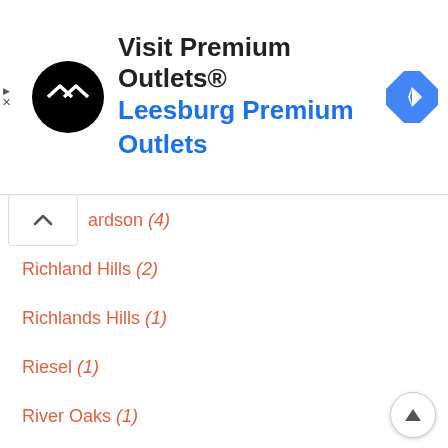[Figure (screenshot): Ad banner for Visit Premium Outlets - Leesburg Premium Outlets with logo and navigation icon]
ardson (4)
Richland Hills (2)
Richlands Hills (1)
Riesel (1)
River Oaks (1)
Roanoke (2)
Robinson (1)
Robstown (1)
Rockdale (1)